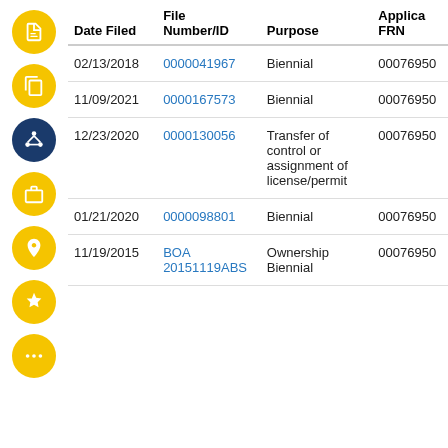| Date Filed | File Number/ID | Purpose | Applica FRN |
| --- | --- | --- | --- |
| 02/13/2018 | 0000041967 | Biennial | 00076950 |
| 11/09/2021 | 0000167573 | Biennial | 00076950 |
| 12/23/2020 | 0000130056 | Transfer of control or assignment of license/permit | 00076950 |
| 01/21/2020 | 0000098801 | Biennial | 00076950 |
| 11/19/2015 | BOA 20151119ABS | Ownership Biennial | 00076950 |